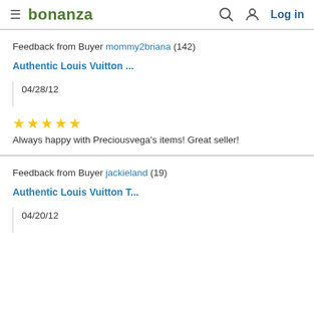bonanza | Log in
Feedback from Buyer mommy2briana (142)
Authentic Louis Vuitton ...
04/28/12
★★★★★ Always happy with Preciousvega's items! Great seller!
Feedback from Buyer jackieland (19)
Authentic Louis Vuitton T...
04/20/12